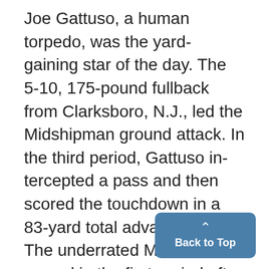Joe Gattuso, a human torpedo, was the yard-gaining star of the day. The 5-10, 175-pound fullback from Clarksboro, N.J., led the Midshipman ground attack. In the third period, Gattuso intercepted a pass and then scored the touchdown in a 83-yard total advance. The underrated Middies scored in the first period after recovering a blocked punt behind the Stanford drive. Navy capped a 92-yard thrust
[Figure (other): Back to Top button — a blue rounded rectangle with an upward chevron arrow and the text 'Back to Top' in white bold text.]